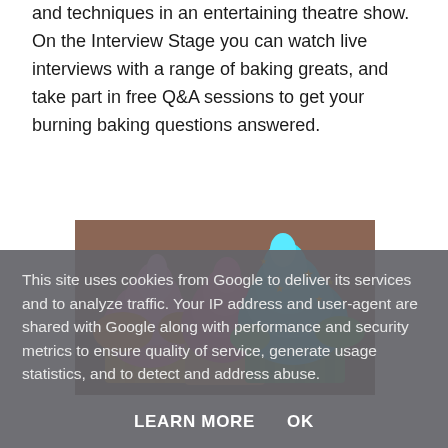and techniques in an entertaining theatre show. On the Interview Stage you can watch live interviews with a range of baking greats, and take part in free Q&A sessions to get your burning baking questions answered.
[Figure (photo): Close-up photo of colorful cupcakes with swirled frosting in pink, orange, blue, and green, decorated with gold star sprinkles, against a blurred background.]
This site uses cookies from Google to deliver its services and to analyze traffic. Your IP address and user-agent are shared with Google along with performance and security metrics to ensure quality of service, generate usage statistics, and to detect and address abuse.
LEARN MORE    OK